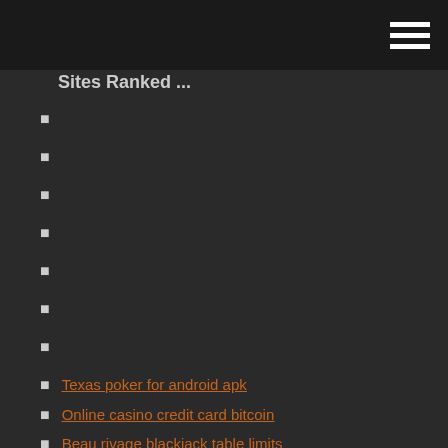Sites Ranked ...
Texas poker for android apk
Online casino credit card bitcoin
Beau rivage blackjack table limits
Best software to open an online poker site
Three rivers casino schenectady new york poker
Best poker starting hands list